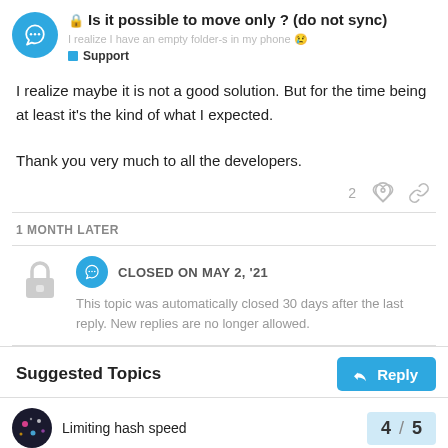Is it possible to move only ? (do not sync) — Support
I realize maybe it is not a good solution. But for the time being at least it's the kind of what I expected.

Thank you very much to all the developers.
1 MONTH LATER
CLOSED ON MAY 2, '21
This topic was automatically closed 30 days after the last reply. New replies are no longer allowed.
Suggested Topics
Limiting hash speed
4 / 5